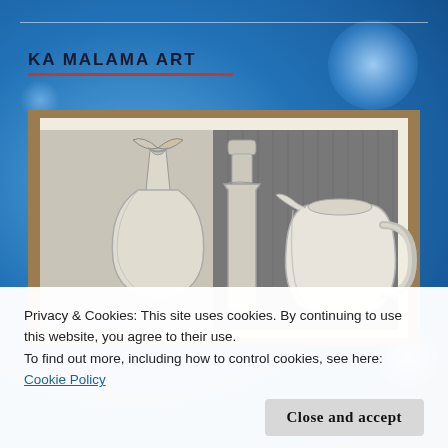[Figure (logo): Ka Malama Art logo with text in uppercase dark letters and red underline]
[Figure (illustration): Pencil still life drawing pinned to a cork board, showing a vase with a bow/decoration, a wine bottle, and a ceramic pitcher/jug against a shaded background]
Privacy & Cookies: This site uses cookies. By continuing to use this website, you agree to their use.
To find out more, including how to control cookies, see here: Cookie Policy
Close and accept